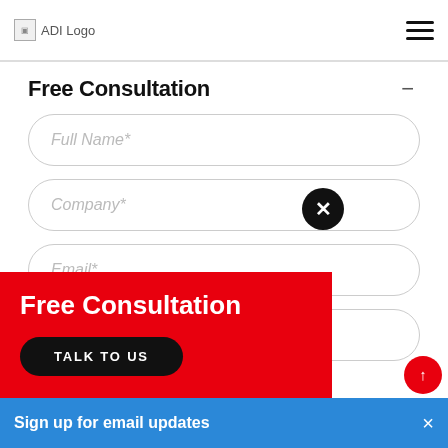[Figure (logo): ADI Logo placeholder image in top navigation bar]
Free Consultation
Full Name*
Company*
Email*
Phone*
Free Consultation
TALK TO US
Sign up for email updates